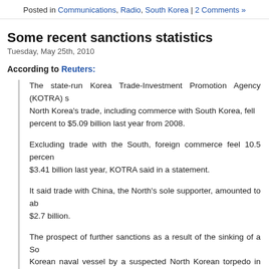Posted in Communications, Radio, South Korea | 2 Comments »
Some recent sanctions statistics
Tuesday, May 25th, 2010
According to Reuters:
The state-run Korea Trade-Investment Promotion Agency (KOTRA) s... North Korea's trade, including commerce with South Korea, fell ... percent to $5.09 billion last year from 2008.
Excluding trade with the South, foreign commerce feel 10.5 percent... $3.41 billion last year, KOTRA said in a statement.
It said trade with China, the North's sole supporter, amounted to ab... $2.7 billion.
The prospect of further sanctions as a result of the sinking of a So... Korean naval vessel by a suspected North Korean torpedo in Ma... would slow trade even more, KOTRA said.
“North Korea’s trade this year is seen shrinking further and depend... more on China due to the U.N.’s continuous sanctions against the No... and possibilities of further measures,” KOTRA said.
North Korea does not announce its own trade data and KOTRA sai... compiled the data from the agency’s overseas offices.